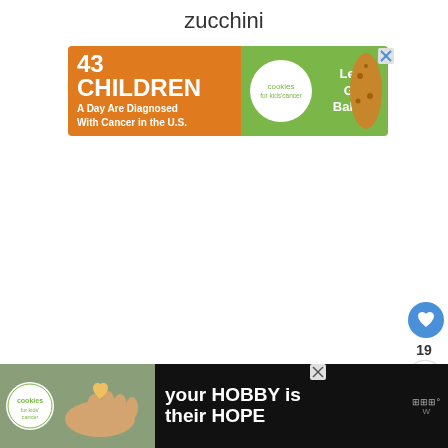zucchini
[Figure (screenshot): Advertisement banner: '43 CHILDREN A Day Are Diagnosed With Cancer in the U.S.' with Cookies for Kids' Cancer logo and 'Let's Get Baking' text on green background with cookie graphic]
19
[Figure (screenshot): Bottom advertisement bar for Cookies for Kids' Cancer showing 'your HOBBY is their HOPE' with photo of hands holding heart-shaped cookie, on dark background]